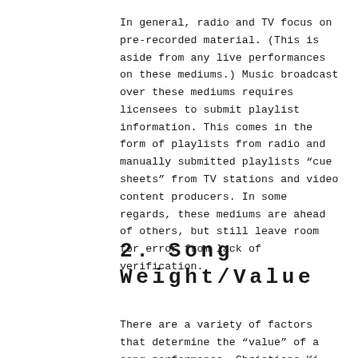In general, radio and TV focus on pre-recorded material. (This is aside from any live performances on these mediums.) Music broadcast over these mediums requires licensees to submit playlist information. This comes in the form of playlists from radio and manually submitted playlists “cue sheets” from TV stations and video content producers. In some regards, these mediums are ahead of others, but still leave room for error from lack of verification.
2. Song Weight/Value
There are a variety of factors that determine the “value” of a song performance. Christiane Ki...